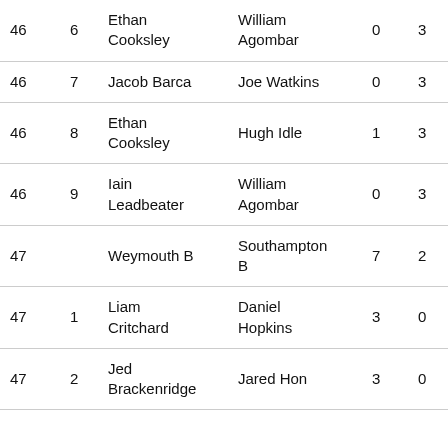| 46 | 6 | Ethan Cooksley | William Agombar | 0 | 3 |
| 46 | 7 | Jacob Barca | Joe Watkins | 0 | 3 |
| 46 | 8 | Ethan Cooksley | Hugh Idle | 1 | 3 |
| 46 | 9 | Iain Leadbeater | William Agombar | 0 | 3 |
| 47 |  | Weymouth B | Southampton B | 7 | 2 |
| 47 | 1 | Liam Critchard | Daniel Hopkins | 3 | 0 |
| 47 | 2 | Jed Brackenridge | Jared Hon | 3 | 0 |